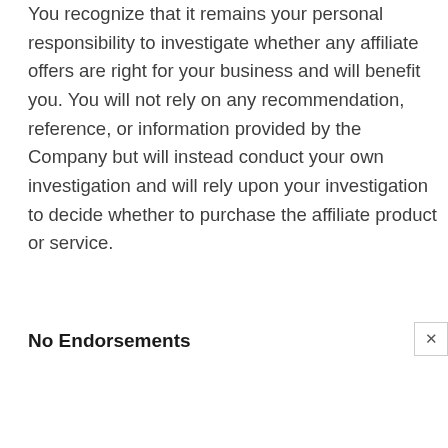You recognize that it remains your personal responsibility to investigate whether any affiliate offers are right for your business and will benefit you. You will not rely on any recommendation, reference, or information provided by the Company but will instead conduct your own investigation and will rely upon your investigation to decide whether to purchase the affiliate product or service.
No Endorsements